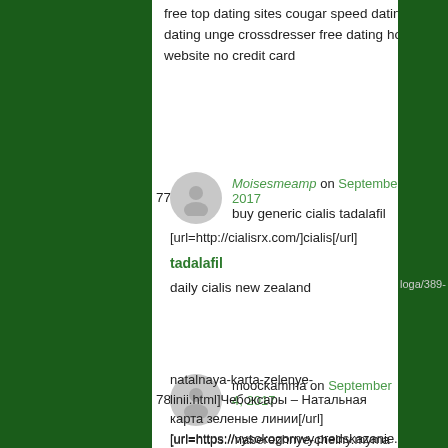free top dating sites cougar speed dating dating unge crossdresser free dating hookup website no credit card
779. Moisesmeamp on September 4, 2017 — buy generic cialis tadalafil [url=http://cialisrx.com/]cialis[/url] tadalafil daily cialis new zealand
780. moockamma on September 4, 2017 — [url=https://naberezhnye-chelny.mymagic.ml/uslugiastrologa/393-natalnaya-karta-znaki-zodiaka.html]Набережные Челны – Натальная карта знаки зодиака[/url] [url=https://cheboksary.mymagic.ml/uslugiastrologa/389-natalnaya-karta-zelenye-linii.html]Чебоксары – Натальная карта зеленые линии[/url] [url=https://vysokogornvy.predskazanie.ml/bes...